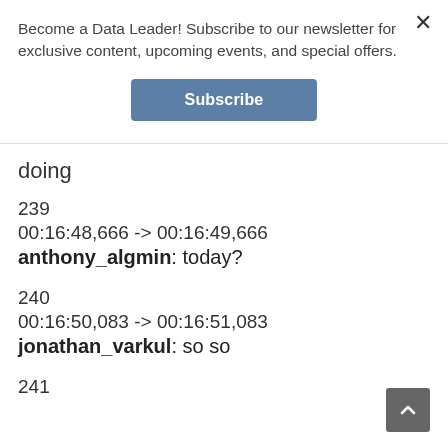Become a Data Leader! Subscribe to our newsletter for exclusive content, upcoming events, and special offers.
Subscribe
doing
239
00:16:48,666 -> 00:16:49,666
anthony_algmin: today?
240
00:16:50,083 -> 00:16:51,083
jonathan_varkul: so so
241